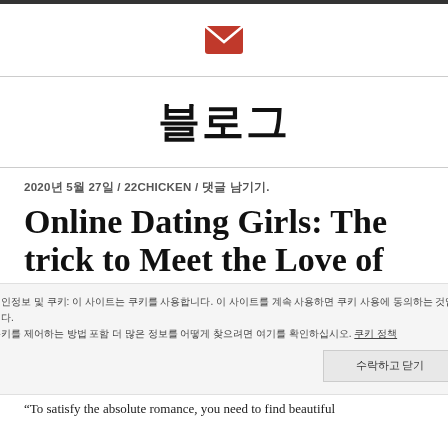[Figure (logo): Red email envelope icon]
블로그
2020년 5월 27일 / 22CHICKEN / 댓글 남기기
Online Dating Girls: The trick to Meet the Love of
개인정보 및 쿠키: 이 사이트는 쿠키를 사용합니다. 이 사이트를 계속 사용하면 쿠키 사용에 동의하는 것입니다. 쿠키를 제어하는 방법 포함 더 많은 정보를 어떻게 찾으려면 여기를 확인하십시오. 쿠키 정책
수락하고 닫기
"To satisfy the absolute romance, you need to find beautiful